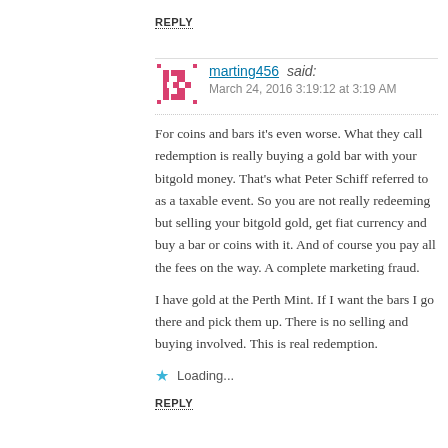REPLY
[Figure (illustration): Pink/red pixel avatar icon with gear/snowflake pattern]
marting456 said:
March 24, 2016 3:19:12 at 3:19 AM
For coins and bars it’s even worse. What they call redemption is really buying a gold bar with your bitgold money. That’s what Peter Schiff referred to as a taxable event. So you are not really redeeming but selling your bitgold gold, get fiat currency and buy a bar or coins with it. And of course you pay all the fees on the way. A complete marketing fraud.
I have gold at the Perth Mint. If I want the bars I go there and pick them up. There is no selling and buying involved. This is real redemption.
Loading...
REPLY